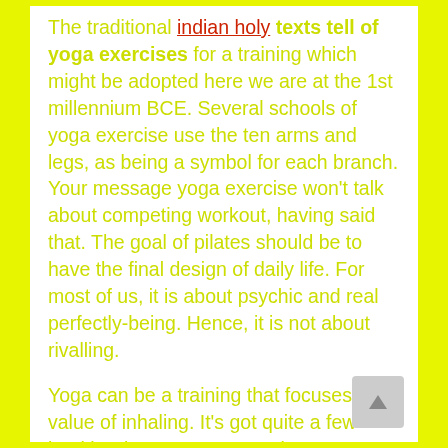The traditional indian holy texts tell of yoga exercises for a training which might be adopted here we are at the 1st millennium BCE. Several schools of yoga exercise use the ten arms and legs, as being a symbol for each branch. Your message yoga exercise won't talk about competing workout, having said that. The goal of pilates should be to have the final design of daily life. For most of us, it is about psychic and real perfectly-being. Hence, it is not about rivalling.

Yoga can be a training that focuses on value of inhaling. It's got quite a few health advantages. It's not just a physical training but they can increase mental and emotional...